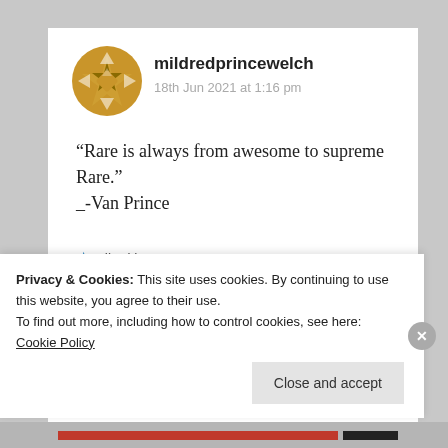[Figure (illustration): Golden/yellow decorative avatar icon with geometric star/snowflake pattern for user mildredprincewelch]
mildredprincewelch
18th Jun 2021 at 1:16 pm
“Rare is always from awesome to supreme Rare.”
_-Van Prince
★ Liked by 1 person
Log in to Reply
Privacy & Cookies: This site uses cookies. By continuing to use this website, you agree to their use.
To find out more, including how to control cookies, see here: Cookie Policy
Close and accept